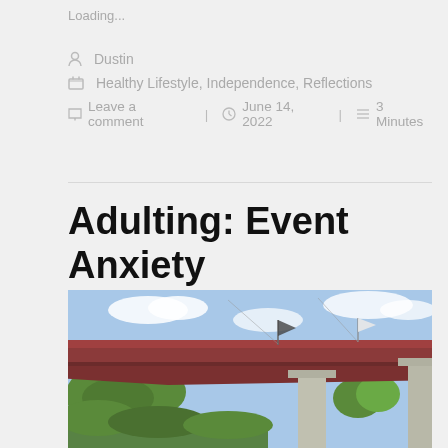Loading...
Dustin
Healthy Lifestyle, Independence, Reflections
Leave a comment   June 14, 2022   3 Minutes
Adulting: Event Anxiety
[Figure (photo): Underside view of a large red highway bridge with concrete support pillars, surrounded by green trees under a blue sky with scattered clouds. A dark flag or banner is visible near the top of the bridge.]